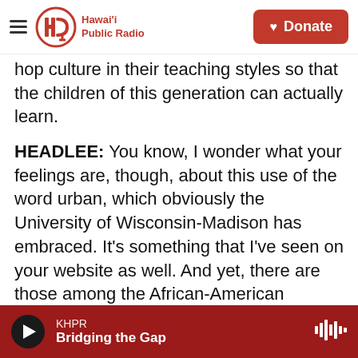Hawai'i Public Radio — Donate
hop culture in their teaching styles so that the children of this generation can actually learn.
HEADLEE: You know, I wonder what your feelings are, though, about this use of the word urban, which obviously the University of Wisconsin-Madison has embraced. It's something that I've seen on your website as well. And yet, there are those among the African-American community who say that the word urban is coded language. That it's often used disparagingly to refer to African-American culture. What do you think?
RICHARDSON: Well, I don't necessarily know if it's
KHPR — Bridging the Gap